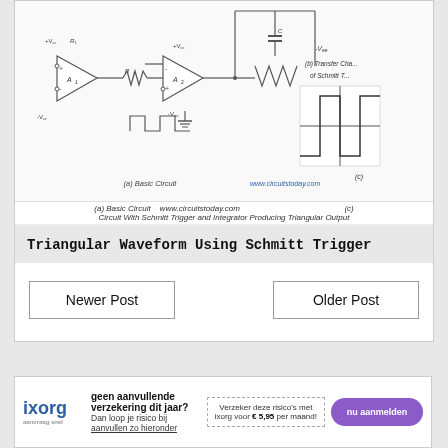[Figure (circuit-diagram): Schmitt Trigger and Integrator circuit diagram showing basic circuit with op-amps A1 and A2, resistors R1 and R2, capacitor C, voltage supplies +Vcc and -Vee, with waveforms shown. Also partially visible: transfer characteristic (b) and waveform (c) panels.]
(a) Basic Circuit   www.circuitstoday.com   (c) Circuit With Schmitt Trigger and Integrator Producing Triangular Output
Triangular Waveform Using Schmitt Trigger
Newer Post
Older Post
[Figure (infographic): ixorg advertisement banner: geen aanvullende verzekering dit jaar? Dan loop je risico bij... Verzeker deze risico's met ixorg voor €5,95 per maand! nu aanmelden button.]